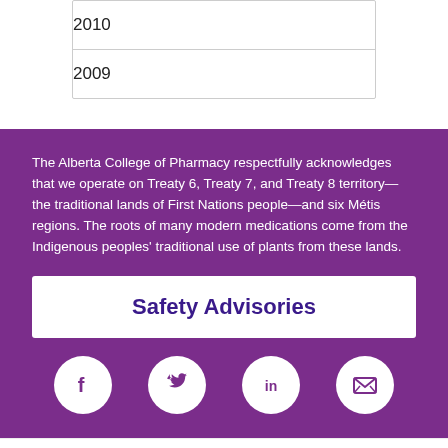2010
2009
The Alberta College of Pharmacy respectfully acknowledges that we operate on Treaty 6, Treaty 7, and Treaty 8 territory—the traditional lands of First Nations people—and six Métis regions. The roots of many modern medications come from the Indigenous peoples' traditional use of plants from these lands.
Safety Advisories
[Figure (illustration): Four social media icons in white circles on purple background: Facebook (f), Twitter (bird), LinkedIn (in), Email (envelope)]
© 2023   Privacy   Site Map   Disclaimer   Contact